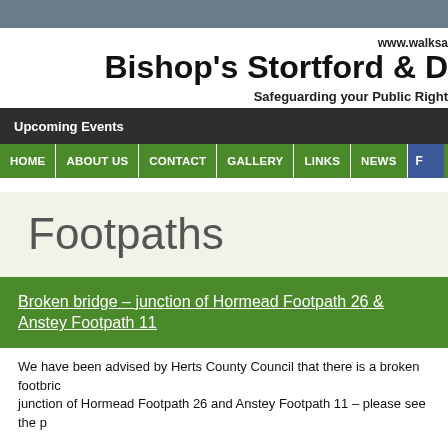www.walksa...
Bishop's Stortford & D
Safeguarding your Public Right
Upcoming Events
HOME | ABOUT US | CONTACT | GALLERY | LINKS | NEWS | F
Footpaths
Broken bridge – junction of Hormead Footpath 26 & Anstey Footpath 11
We have been advised by Herts County Council that there is a broken footbric junction of Hormead Footpath 26 and Anstey Footpath 11 – please see the p